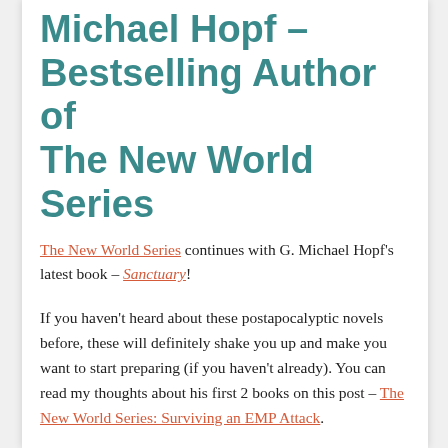Michael Hopf – Bestselling Author of The New World Series
The New World Series continues with G. Michael Hopf's latest book – Sanctuary!
If you haven't heard about these postapocalyptic novels before, these will definitely shake you up and make you want to start preparing (if you haven't already). You can read my thoughts about his first 2 books on this post – The New World Series: Surviving an EMP Attack.